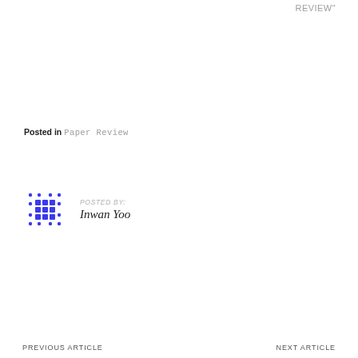REVIEW"
Posted in Paper Review
POSTED BY: Inwan Yoo
PREVIOUS ARTICLE    NEXT ARTICLE